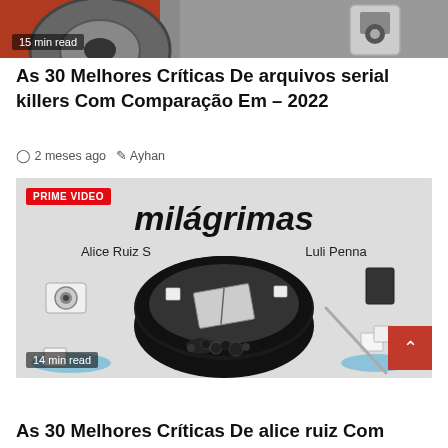[Figure (photo): Cropped top image of a truck/vehicle wheel and machinery, partially visible, with a '15 min read' badge overlay]
As 30 Melhores Críticas De arquivos serial killers Com Comparação Em – 2022
2 meses ago   Ayhan
[Figure (photo): Book cover of 'milágrimas' by Alice Ruiz S and Luli Penna, black and white illustration of a bowl with various objects, with 'PRIME VIDEO' badge and '14 min read' badge]
As 30 Melhores Críticas De alice ruiz Com